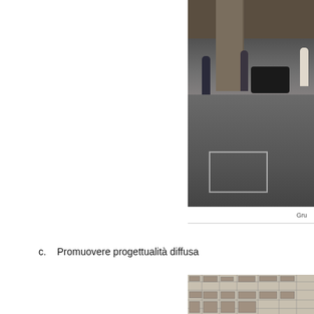[Figure (photo): Street scene under a bridge or overpass. A large concrete pillar is visible on the left with graffiti. People are standing near the pillar. A dark car is parked in the background. The road surface shows white-lined parking spaces in the foreground.]
Gru
c.   Promuovere progettualità diffusa
[Figure (map): Black and white urban map/plan showing city blocks, streets, and building footprints.]